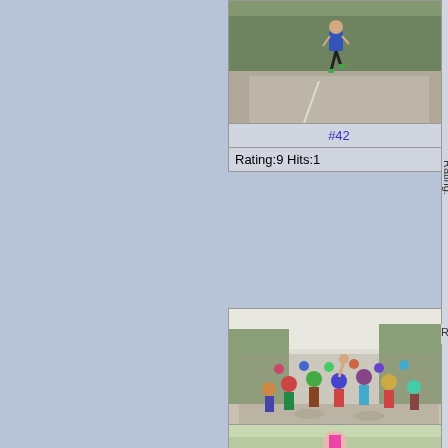[Figure (photo): Runner in blue shirt running on a road, trees in background]
#42
Rating:9 Hits:1
[Figure (photo): Large group of people gathered on road for a race event, wearing colorful outfits]
None
Rating:9 Hits:1
[Figure (photo): Partial photo of a person running, trees in background]